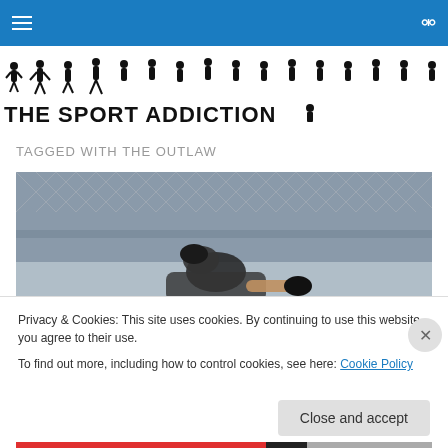Navigation bar with hamburger menu and search icon
[Figure (logo): The Sport Addiction logo with silhouettes of athletes and bold text 'THE SPORT ADDICTION']
TAGGED WITH THE OUTLAW
[Figure (photo): MMA fighter inside an octagon cage, close-up view from above]
Privacy & Cookies: This site uses cookies. By continuing to use this website, you agree to their use.
To find out more, including how to control cookies, see here: Cookie Policy
Close and accept